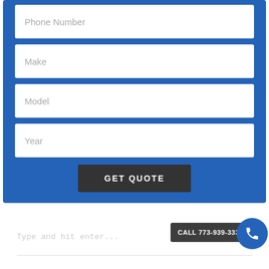Phone Number
Make
Model
Year
GET QUOTE
Type and hit enter...
CALL 773-939-3333